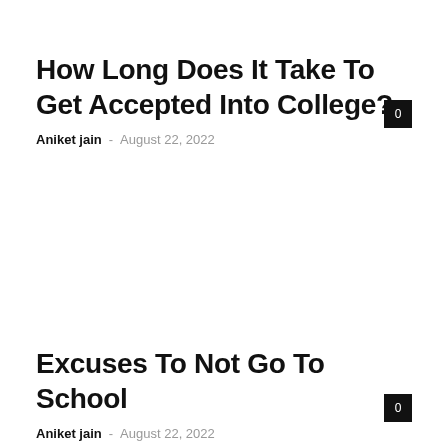How Long Does It Take To Get Accepted Into College?
Aniket jain – August 22, 2022
Excuses To Not Go To School
Aniket jain – August 22, 2022